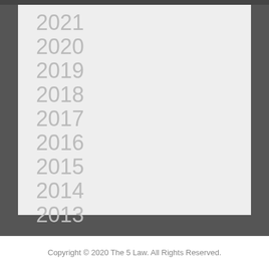2021
2020
2019
2018
2017
2016
2015
2014
2013
Copyright © 2020 The 5 Law. All Rights Reserved.